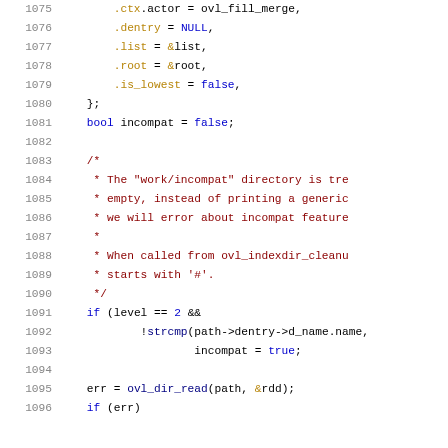[Figure (screenshot): Source code listing showing lines 1075-1096 of a C file with syntax highlighting. Code shows struct initialization with fields .ctx, .dentry, .list, .root, .is_lowest, followed by bool incompat declaration, a block comment about work/incompat directory handling, an if statement checking level==2 and strcmp on path->dentry->d_name.name, setting incompat=true, and a call to ovl_dir_read.]